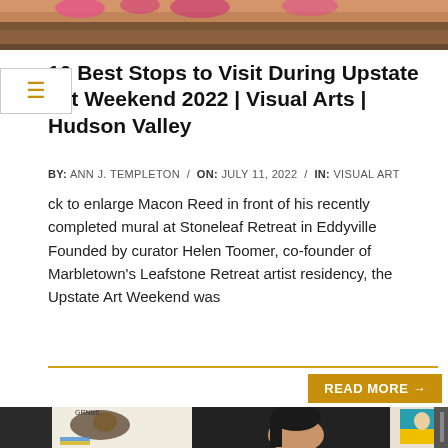[Figure (photo): Top cropped photo showing outdoor scene with flowers and earth tones, partial view]
10 Best Stops to Visit During Upstate Art Weekend 2022 | Visual Arts | Hudson Valley
BY: ANN J. TEMPLETON / ON: JULY 11, 2022 / IN: VISUAL ART
ck to enlarge Macon Reed in front of his recently completed mural at Stoneleaf Retreat in Eddyville Founded by curator Helen Toomer, co-founder of Marbletown's Leafstone Retreat artist residency, the Upstate Art Weekend was
READ MORE →
[Figure (photo): Indoor photo of a woman with dark hair looking at artworks displayed on wall, including colorful prints with eagle/bird imagery and Ukrainian flag colors]